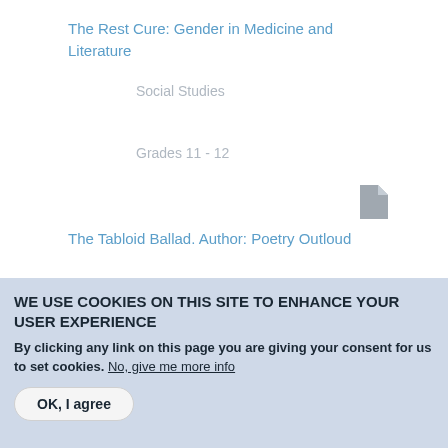The Rest Cure: Gender in Medicine and Literature
Social Studies
Grades 11 - 12
[Figure (illustration): Gray file/document icon]
The Tabloid Ballad. Author: Poetry Outloud
WE USE COOKIES ON THIS SITE TO ENHANCE YOUR USER EXPERIENCE
By clicking any link on this page you are giving your consent for us to set cookies. No, give me more info
OK, I agree